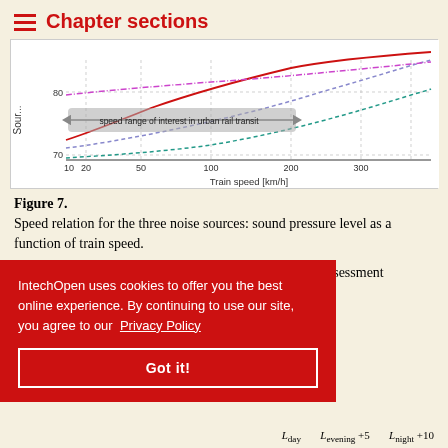Chapter sections
[Figure (continuous-plot): Line chart showing speed relation for three noise sources: sound pressure level (y-axis, ~70-80+ dB) vs Train speed in km/h (x-axis, 10-300). Three curves: red solid line (rolling noise), blue dashed line, and teal dashed line. A horizontal double-headed arrow labeled 'speed range of interest in urban rail transit' spans roughly 10-100 km/h.]
Figure 7.
Speed relation for the three noise sources: sound pressure level as a function of train speed.
According to the Directive 2002/49/EC (annex II), the assessment methods and noise indicators for ... Article 6 [29] ...ng-night level ...ollowing
IntechOpen uses cookies to offer you the best online experience. By continuing to use our site, you agree to our Privacy Policy
Got it!